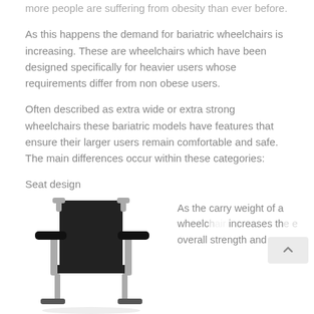more people are suffering from obesity than ever before.
As this happens the demand for bariatric wheelchairs is increasing. These are wheelchairs which have been designed specifically for heavier users whose requirements differ from non obese users.
Often described as extra wide or extra strong wheelchairs these bariatric models have features that ensure their larger users remain comfortable and safe. The main differences occur within these categories:
Seat design
Frame design
Frame material
Wheel & tyre design
[Figure (photo): A black bariatric wheelchair viewed from the front, showing wide seat, black upholstery, and silver frame with armrests.]
As the carry weight of a wheelc increases th overall strength and